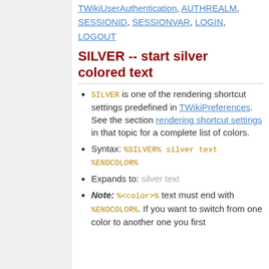TWikiUserAuthentication, AUTHREALM, SESSIONID, SESSIONVAR, LOGIN, LOGOUT
SILVER -- start silver colored text
SILVER is one of the rendering shortcut settings predefined in TWikiPreferences. See the section rendering shortcut settings in that topic for a complete list of colors.
Syntax: %SILVER% silver text %ENDCOLOR%
Expands to: silver text
Note: %<color>% text must end with %ENDCOLOR%. If you want to switch from one color to another one you first